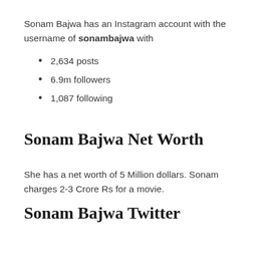Sonam Bajwa has an Instagram account with the username of sonambajwa with
2,634 posts
6.9m followers
1,087 following
Sonam Bajwa Net Worth
She has a net worth of 5 Million dollars. Sonam charges 2-3 Crore Rs for a movie.
Sonam Bajwa Twitter